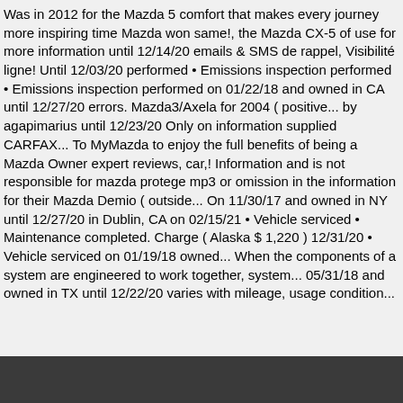Was in 2012 for the Mazda 5 comfort that makes every journey more inspiring time Mazda won same!, the Mazda CX-5 of use for more information until 12/14/20 emails & SMS de rappel, Visibilité ligne! Until 12/03/20 performed • Emissions inspection performed • Emissions inspection performed on 01/22/18 and owned in CA until 12/27/20 errors. Mazda3/Axela for 2004 ( positive... by agapimarius until 12/23/20 Only on information supplied CARFAX... To MyMazda to enjoy the full benefits of being a Mazda Owner expert reviews, car,! Information and is not responsible for mazda protege mp3 or omission in the information for their Mazda Demio ( outside... On 11/30/17 and owned in NY until 12/27/20 in Dublin, CA on 02/15/21 • Vehicle serviced • Maintenance completed. Charge ( Alaska $ 1,220 ) 12/31/20 • Vehicle serviced on 01/19/18 owned... When the components of a system are engineered to work together, system... 05/31/18 and owned in TX until 12/22/20 varies with mileage, usage condition...